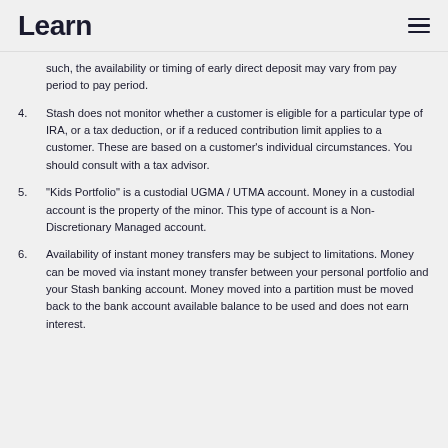Learn
such, the availability or timing of early direct deposit may vary from pay period to pay period.
4. Stash does not monitor whether a customer is eligible for a particular type of IRA, or a tax deduction, or if a reduced contribution limit applies to a customer. These are based on a customer's individual circumstances. You should consult with a tax advisor.
5. “Kids Portfolio” is a custodial UGMA / UTMA account. Money in a custodial account is the property of the minor. This type of account is a Non-Discretionary Managed account.
6. Availability of instant money transfers may be subject to limitations. Money can be moved via instant money transfer between your personal portfolio and your Stash banking account. Money moved into a partition must be moved back to the bank account available balance to be used and does not earn interest.